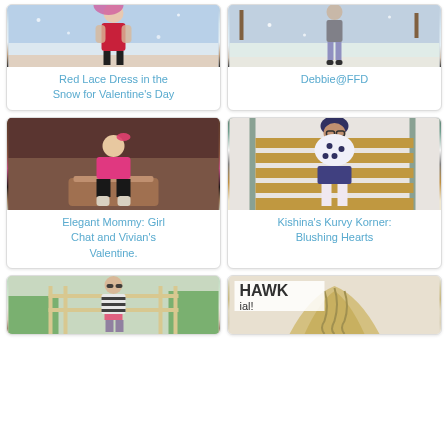[Figure (photo): Young woman in red lace dress with fur coat in snowy outdoor setting]
Red Lace Dress in the Snow for Valentine's Day
[Figure (photo): Person walking in snow wearing jeans and grey top]
Debbie@FFD
[Figure (photo): Young girl in pink sweater and black pants sitting on wooden furniture in studio]
Elegant Mommy: Girl Chat and Vivian's Valentine.
[Figure (photo): Woman in black and white polka dot top on yellow stairs outdoors]
Kishina's Kurvy Korner: Blushing Hearts
[Figure (photo): Woman in striped top outdoors near fence]
[Figure (photo): Close-up of blonde hair styled in mohawk braid hairstyle with text overlay HAWK]